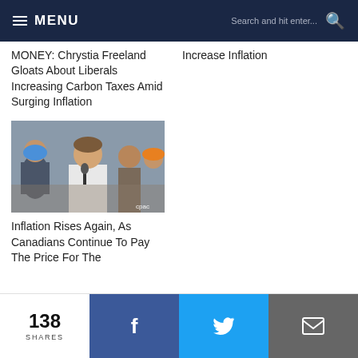MENU | Search and hit enter...
MONEY: Chrystia Freeland Gloats About Liberals Increasing Carbon Taxes Amid Surging Inflation
Increase Inflation
[Figure (photo): Photo of a woman in white speaking at a podium with a microphone, surrounded by several people. CPAC watermark visible in bottom right.]
Inflation Rises Again, As Canadians Continue To Pay The Price For The
138 SHARES | Facebook | Twitter | Email